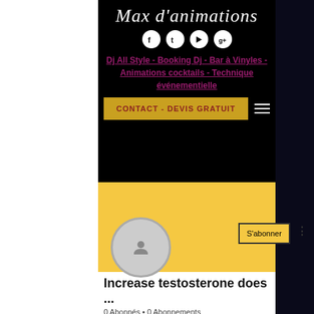[Figure (logo): Cursive script logo reading 'Max d'animations' in white on black background]
[Figure (infographic): Four social media icons (Facebook, Twitter, YouTube, Google+) displayed as white circles]
Dj All Style - Booking Dj - Bar à Vinyles - Animations cocktails - Technique événementielle
CONTACT - DEVIS GRATUIT
[Figure (photo): Yellow banner section with profile circle and subscribe button]
S'abonner
Increase testosterone does ...
0 Abonnés • 0 Abonnements